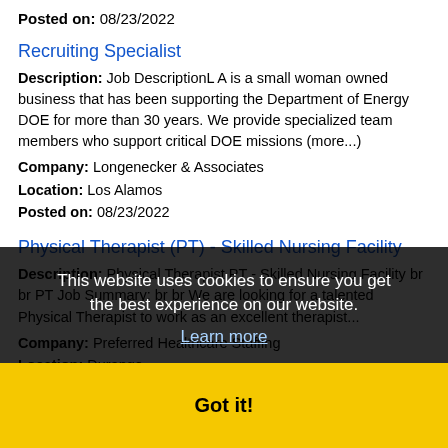Posted on: 08/23/2022
Recruiting Specialist
Description: Job DescriptionL A is a small woman owned business that has been supporting the Department of Energy DOE for more than 30 years. We provide specialized team members who support critical DOE missions (more...)
Company: Longenecker & Associates
Location: Los Alamos
Posted on: 08/23/2022
Physical Therapist (PT) - Skilled Nursing Facility
Description: Physical Therapist PT - Skilled Nursing Facility br br PT Job Summary: br br We are looking for a talented Physical Therapist to work as an excellent therapist...
Company: Preferred Healthcare Staffing
Location: Durango
Posted on: 08/23/2022
Outpatient Pain Management NP/PA desired in Santa Fe, New Mexico
Description: Pain Management opening in Santa Fe, New Mexico. This and other nurse practitioner jobs brought to you by
This website uses cookies to ensure you get the best experience on our website.
Learn more
Got it!